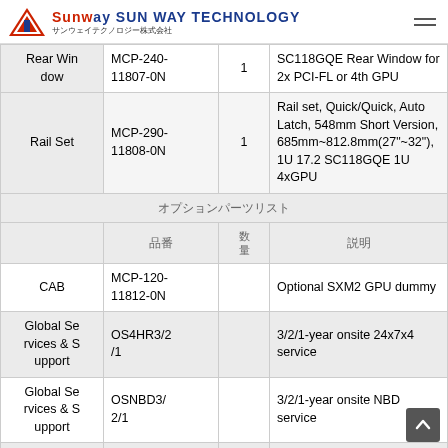SUN WAY TECHNOLOGY サンウェイテクノロジー株式会社
| Category | Part Number | Qty | Description |
| --- | --- | --- | --- |
| Rear Window | MCP-240-11807-0N | 1 | SC118GQE Rear Window for 2x PCI-FL or 4th GPU |
| Rail Set | MCP-290-11808-0N | 1 | Rail set, Quick/Quick, Auto Latch, 548mm Short Version, 685mm~812.8mm(27"~32"), 1U 17.2 SC118GQE 1U 4xGPU |
| (Japanese section header) |  |  |  |
|  | 品番 | 数量 | 説明 |
| CAB | MCP-120-11812-0N |  | Optional SXM2 GPU dummy |
| Global Services & Support | OS4HR3/2/1 |  | 3/2/1-year onsite 24x7x4 service |
| Global Services & Support | OSNBD3/2/1 |  | 3/2/1-year onsite NBD service |
|  | SET-OOB-... |  | OOB Management Package (per node |